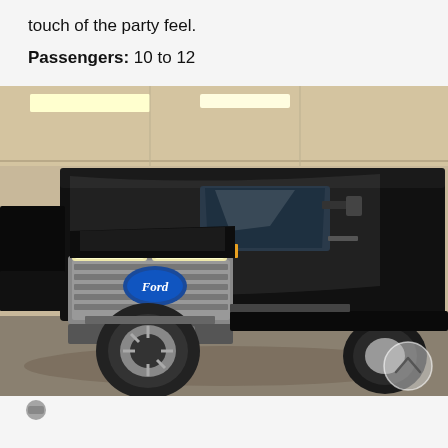touch of the party feel.
Passengers: 10 to 12
[Figure (photo): Black Ford party bus / stretch limo truck photographed from the front-left angle inside a warehouse/garage. The vehicle is a large black Ford F-series based limousine bus with chrome grille, dual rear wheels, and an extended black body. A scroll-up arrow button is visible in the bottom-right corner of the image.]